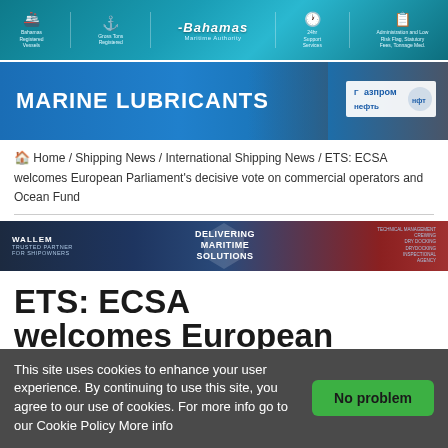[Figure (screenshot): Bahamas Maritime Authority banner with icons for Bahamas Registered Vessels, Gross Tons Registered, Maritime Authority logo, 24hr Support Services, and Administration links]
[Figure (screenshot): Marine Lubricants advertisement banner with Gazprom Neft logo, blue background with worker in hard hat]
Home / Shipping News / International Shipping News / ETS: ECSA welcomes European Parliament's decisive vote on commercial operators and Ocean Fund
[Figure (screenshot): Wallem Group advertisement banner: Trusted Partner For Shipowners, Delivering Maritime Solutions, Technical Management, Crewing, Dry Docking, Drydocking, Inspectional, Agency]
ETS: ECSA welcomes European
This site uses cookies to enhance your user experience. By continuing to use this site, you agree to our use of cookies. For more info go to our Cookie Policy More info